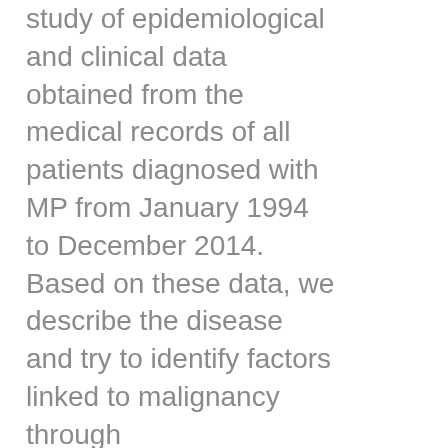study of epidemiological and clinical data obtained from the medical records of all patients diagnosed with MP from January 1994 to December 2014. Based on these data, we describe the disease and try to identify factors linked to malignancy through